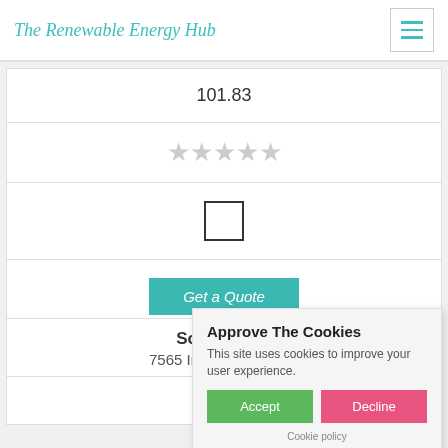The Renewable Energy Hub
101.83
[Figure (other): Five empty star rating icons in light grey]
[Figure (other): Empty checkbox square]
Get a Quote
Solar Energy [truncated]
7565 Industrial Court [truncated]
103.00
Approve The Cookies
This site uses cookies to improve your user experience.
Accept
Decline
Cookie policy